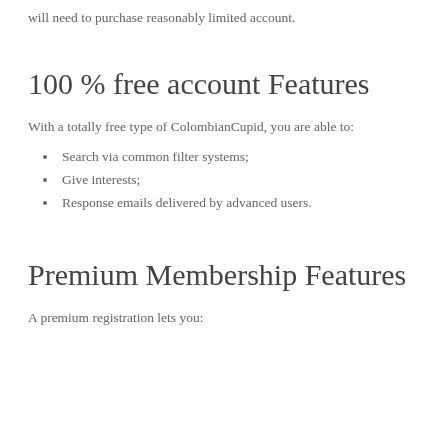will need to purchase reasonably limited account.
100 % free account Features
With a totally free type of ColombianCupid, you are able to:
Search via common filter systems;
Give interests;
Response emails delivered by advanced users.
Premium Membership Features
A premium registration lets you: